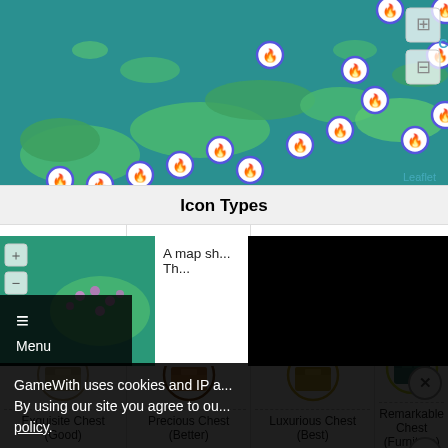[Figure (map): Interactive map of Inazuma region showing Electroculus locations as blue flame icons on teal water background with island landmasses. Leaflet watermark visible bottom right. Map controls top right.]
Icon Types
| Electroculus | Shrine Of Depth | Torn Page |
| Exquisite Chest (Good) | Precious Chest (Better) | Luxurious Chest (Best) | Remarkable Chest (Furniture) |
[Figure (map): Small thumbnail of Inazuma map with purple flower/sakura icons]
A map sh... Th...
GameWith uses cookies and IP a... By using our site you agree to ou... policy.